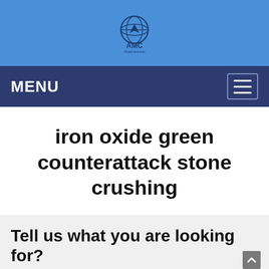[Figure (logo): AMC Global company logo with globe icon in blue tones on blue background]
MENU
iron oxide green counterattack stone crushing
Tell us what you are looking for?
Please fill in and submit the following form, our service team will contact you as soon as possible and provide a complete solution.